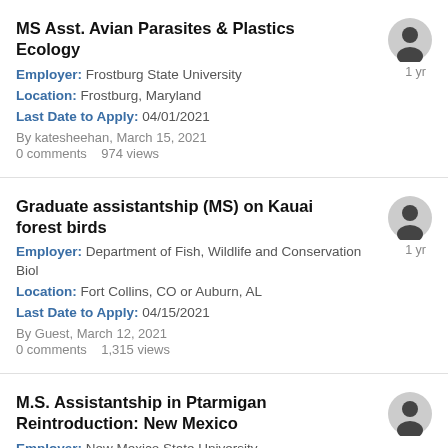MS Asst. Avian Parasites & Plastics Ecology
Employer: Frostburg State University
Location: Frostburg, Maryland
Last Date to Apply: 04/01/2021
By katesheehan, March 15, 2021
0 comments   974 views
Graduate assistantship (MS) on Kauai forest birds
Employer: Department of Fish, Wildlife and Conservation Biol
Location: Fort Collins, CO or Auburn, AL
Last Date to Apply: 04/15/2021
By Guest, March 12, 2021
0 comments   1,315 views
M.S. Assistantship in Ptarmigan Reintroduction: New Mexico
Employer: New Mexico State University
Location: Las Cruces (university) + Pecos Wilderness (field), New Mexico